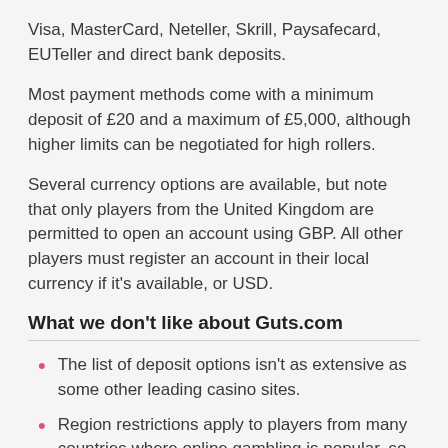Visa, MasterCard, Neteller, Skrill, Paysafecard, EUTeller and direct bank deposits.
Most payment methods come with a minimum deposit of £20 and a maximum of £5,000, although higher limits can be negotiated for high rollers.
Several currency options are available, but note that only players from the United Kingdom are permitted to open an account using GBP. All other players must register an account in their local currency if it's available, or USD.
What we don't like about Guts.com
The list of deposit options isn't as extensive as some other leading casino sites.
Region restrictions apply to players from many countries where online gambling is popular, so